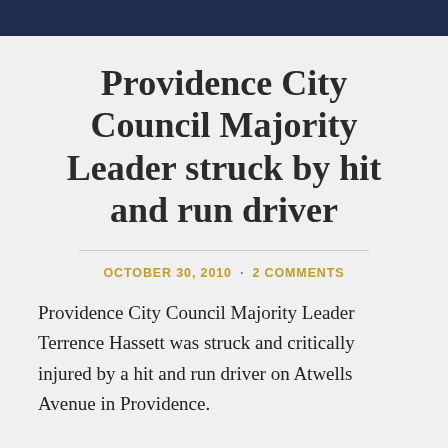Providence City Council Majority Leader struck by hit and run driver
OCTOBER 30, 2010 · 2 COMMENTS
Providence City Council Majority Leader Terrence Hassett was struck and critically injured by a hit and run driver on Atwells Avenue in Providence.